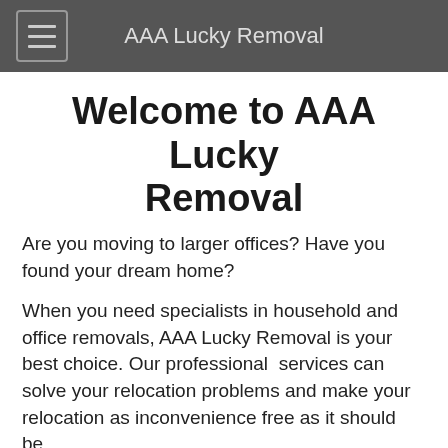AAA Lucky Removal
Welcome to AAA Lucky Removal
Are you moving to larger offices? Have you found your dream home?
When you need specialists in household and office removals, AAA Lucky Removal is your best choice. Our professional  services can solve your relocation problems and make your relocation as inconvenience free as it should be.
Why worry over safe transportation of your families' valuable possessions? AAA Lucky Removal provides highly skilled removalists who